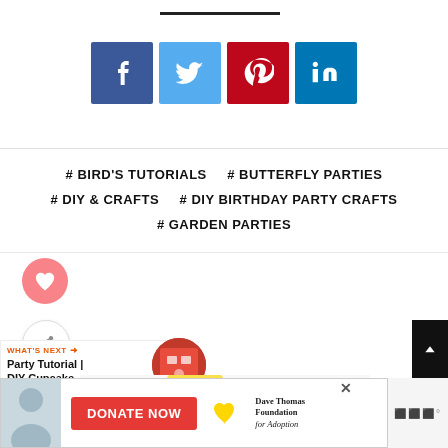[Figure (other): Social media share buttons row: Facebook (blue), Twitter (light blue), Pinterest (red), LinkedIn (dark blue)]
# BIRD'S TUTORIALS
# BUTTERFLY PARTIES
# DIY & CRAFTS
# DIY BIRTHDAY PARTY CRAFTS
# GARDEN PARTIES
[Figure (other): Like/heart button (pink circle with white heart icon)]
[Figure (other): Share button (white circle with share icon)]
[Figure (other): What's Next promo: Party Tutorial | DIY Cupcake...]
[Figure (photo): Colorful balloons (yellow, green, pink, purple) held by a child]
[Figure (other): Scroll to top button (dark square with up arrow)]
[Figure (other): Advertisement banner: Dave Thomas Foundation for Adoption with Donate Now button]